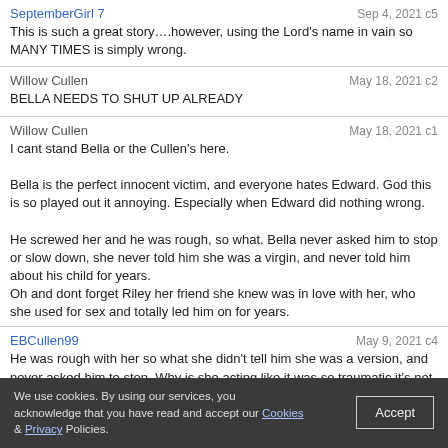SeptemberGirl 7  Sep 4, 2021 c5
This is such a great story….however, using the Lord's name in vain so MANY TIMES is simply wrong.
Willow Cullen  May 18, 2021 c2
BELLA NEEDS TO SHUT UP ALREADY
Willow Cullen  May 18, 2021 c1
I cant stand Bella or the Cullen's here.

Bella is the perfect innocent victim, and everyone hates Edward. God this is so played out it annoying. Especially when Edward did nothing wrong.

He screwed her and he was rough, so what. Bella never asked him to stop or slow down, she never told him she was a virgin, and never told him about his child for years.
Oh and dont forget Riley her friend she knew was in love with her, who she used for sex and totally led him on for years.
EBCullen99  May 9, 2021 c4
He was rough with her so what she didn't tell him she was a version, and never asked him to stop. Why is she acting like it was so traumatic it's not like she was raped.

I hate how Bella uses Riley here.
13,566 « Prev Page 1 ... 2 3 4 5 6 13 ... Last Next »
We use cookies. By using our services, you acknowledge that you have read and accept our Cookies & Privacy Policies.